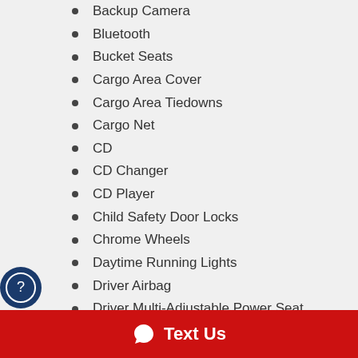Backup Camera
Bluetooth
Bucket Seats
Cargo Area Cover
Cargo Area Tiedowns
Cargo Net
CD
CD Changer
CD Player
Child Safety Door Locks
Chrome Wheels
Daytime Running Lights
Driver Airbag
Driver Multi-Adjustable Power Seat
Electrochromic Exterior Rearview Mirror
Electrochromic Interior Rearview Mirror
Electronic Brake Assistance
Electronic Parking Aid
Text Us